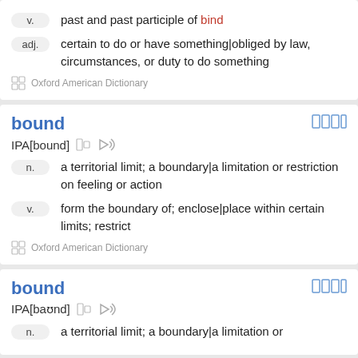v. past and past participle of bind
adj. certain to do or have something|obliged by law, circumstances, or duty to do something
Oxford American Dictionary
bound
IPA[bound]
n. a territorial limit; a boundary|a limitation or restriction on feeling or action
v. form the boundary of; enclose|place within certain limits; restrict
Oxford American Dictionary
bound
IPA[baʊnd]
n. a territorial limit; a boundary|a limitation or